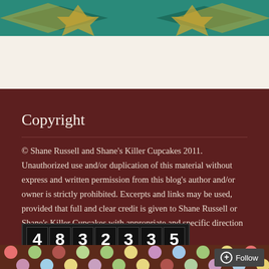[Figure (illustration): Partial view of a teal/green decorative image at the top of the page, likely a logo or decorative banner for Shane's Killer Cupcakes blog]
Copyright
© Shane Russell and Shane's Killer Cupcakes 2011. Unauthorized use and/or duplication of this material without express and written permission from this blog's author and/or owner is strictly prohibited. Excerpts and links may be used, provided that full and clear credit is given to Shane Russell or Shane's Killer Cupcakes with appropriate and specific direction to the original content.
[Figure (other): A visitor counter widget showing the number 4832335 in white digits on black segmented display blocks]
[Figure (illustration): Decorative footer with colorful polka dots (pink, green, blue, yellow, mauve) on a dark brown background, with a Follow button in the bottom right corner]